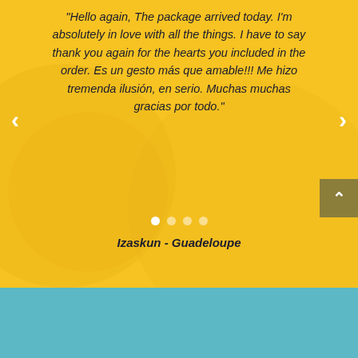"Hello again, The package arrived today. I'm absolutely in love with all the things. I have to say thank you again for the hearts you included in the order. Es un gesto más que amable!!! Me hizo tremenda ilusión, en serio. Muchas muchas gracias por todo."
Izaskun - Guadeloupe
JOIN NOW AND SAV